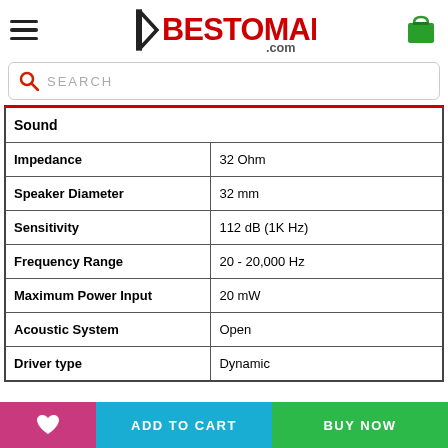[Figure (logo): Bestomart.com logo in red and black with shopping bag icon]
SEARCH
| Sound |  |
| Impedance | 32 Ohm |
| Speaker Diameter | 32 mm |
| Sensitivity | 112 dB (1K Hz) |
| Frequency Range | 20 - 20,000 Hz |
| Maximum Power Input | 20 mW |
| Acoustic System | Open |
| Driver type | Dynamic |
ADD TO CART
BUY NOW